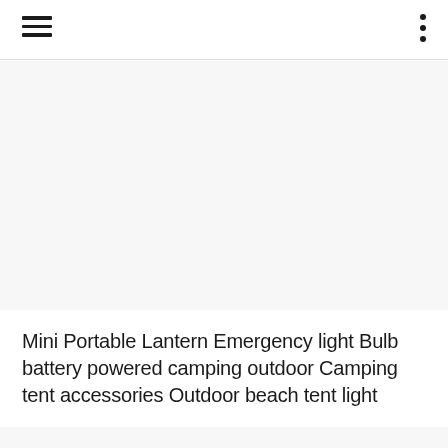[Figure (photo): Large white/light grey blank area representing a product image placeholder]
Mini Portable Lantern Emergency light Bulb battery powered camping outdoor Camping tent accessories Outdoor beach tent light